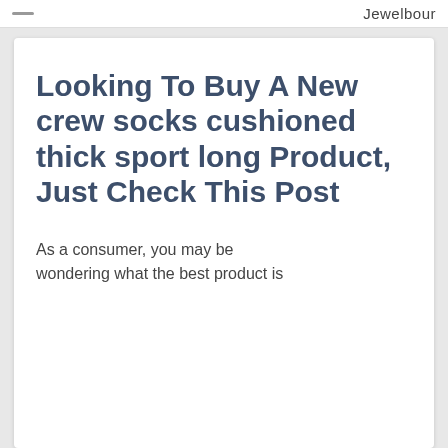Jewelbour
Looking To Buy A New crew socks cushioned thick sport long Product, Just Check This Post
As a consumer, you may be wondering what the best product is